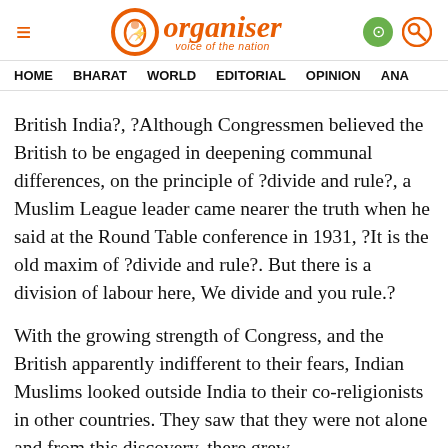Organiser — voice of the nation
HOME  BHARAT  WORLD  EDITORIAL  OPINION  ANA
British India?, ?Although Congressmen believed the British to be engaged in deepening communal differences, on the principle of ?divide and rule?, a Muslim League leader came nearer the truth when he said at the Round Table conference in 1931, ?It is the old maxim of ?divide and rule?. But there is a division of labour here, We divide and you rule.?
With the growing strength of Congress, and the British apparently indifferent to their fears, Indian Muslims looked outside India to their co-religionists in other countries. They saw that they were not alone and from this discovery, there grew